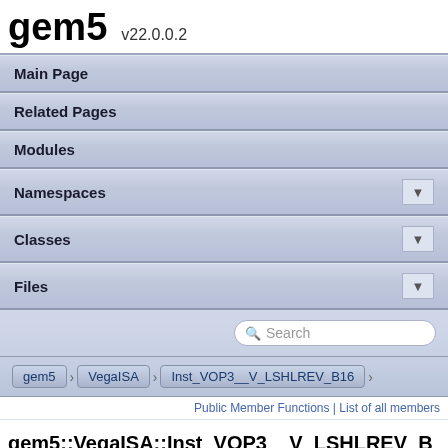gem5 v22.0.0.2
Main Page
Related Pages
Modules
Namespaces
Classes
Files
Search
gem5 > VegaISA > Inst_VOP3__V_LSHLREV_B16
Public Member Functions | List of all members
gem5::VegaISA::Inst_VOP3__V_LSHLREV_B16 Class Reference